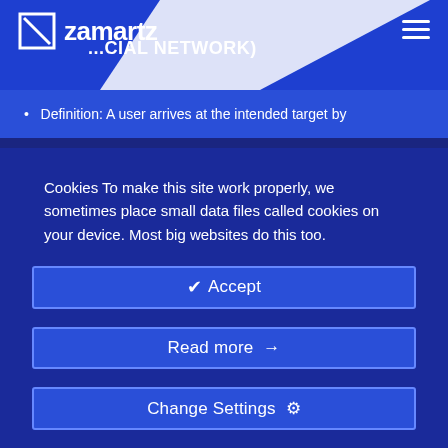zamartz
...CIAL NETWORK)
Definition: A user arrives at the intended target by
Cookies To make this site work properly, we sometimes place small data files called cookies on your device. Most big websites do this too.
✔ Accept
Read more →
Change Settings ⚙